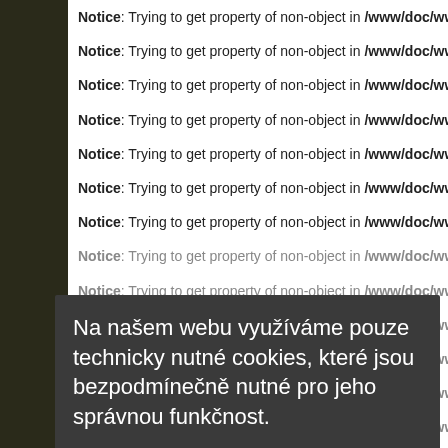Notice: Trying to get property of non-object in /www/doc/www.czech-g
Notice: Trying to get property of non-object in /www/doc/www.czech-g
Notice: Trying to get property of non-object in /www/doc/www.czech-g
Notice: Trying to get property of non-object in /www/doc/www.czech-g
Notice: Trying to get property of non-object in /www/doc/www.czech-g
Notice: Trying to get property of non-object in /www/doc/www.czech-g
Notice: Trying to get property of non-object in /www/doc/www.czech-g
Notice: Trying to get property of non-object in /www/doc/www.czech-g (dimmed)
Notice: Trying to get property of non-object in /www/doc/www.czech-g (dimmed)
Notice: Trying to get property of non-object in /www/doc/www.czech-g (dimmed)
Notice: Trying to get property of non-object in /www/doc/www.czech-g (dimmed)
Notice: Trying to get property of non-object in /www/doc/www.czech-g (dimmed)
Notice: Trying to get property of non-object in /www/doc/www.czech-g (dimmed)
[Figure (screenshot): Cookie consent modal overlay with text: Na nasem webu vyuzivame pouze technicky nutne cookies, ktere jsou bezpodminecne nutne pro jeho spravnou funkCnost. Includes a 'Vice informaci' link and a green 'V poradku' button.]
Notice: Trying to get property of non-object in /www/doc/www.czech-g
Notice: Trying to get property of non-object in /www/doc/www.czech-g